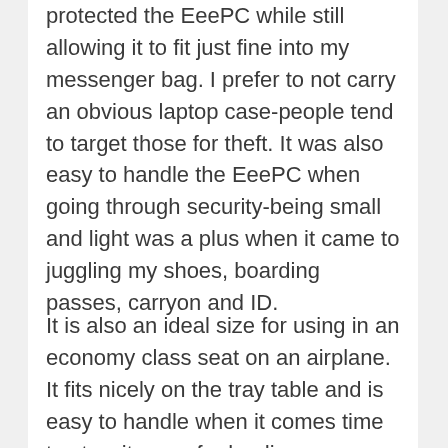protected the EeePC while still allowing it to fit just fine into my messenger bag. I prefer to not carry an obvious laptop case-people tend to target those for theft. It was also easy to handle the EeePC when going through security-being small and light was a plus when it came to juggling my shoes, boarding passes, carryon and ID.
It is also an ideal size for using in an economy class seat on an airplane. It fits nicely on the tray table and is easy to handle when it comes time to stow it away for landing.
When I went to print my tickets for my return flight, I found that my mother's Windows 98